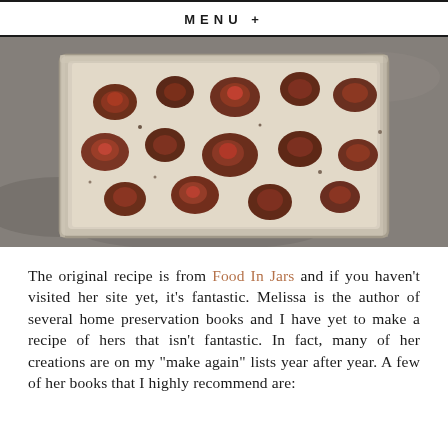MENU +
[Figure (photo): Overhead photo of a baking sheet with roasted tomatoes on parchment paper, caramelized and slightly charred, on a rustic metal surface.]
The original recipe is from Food In Jars and if you haven't visited her site yet, it's fantastic. Melissa is the author of several home preservation books and I have yet to make a recipe of hers that isn't fantastic. In fact, many of her creations are on my “make again” lists year after year. A few of her books that I highly recommend are: